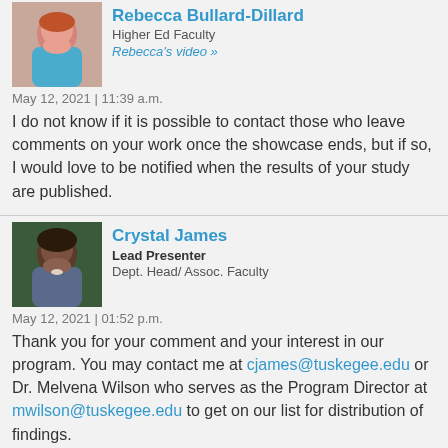[Figure (photo): Profile photo of Rebecca Bullard-Dillard, a woman with red hair]
Rebecca Bullard-Dillard
Higher Ed Faculty
Rebecca's video »
May 12, 2021 | 11:39 a.m.
I do not know if it is possible to contact those who leave comments on your work once the showcase ends, but if so, I would love to be notified when the results of your study are published.
[Figure (photo): Profile photo of Crystal James, a woman with dark hair]
Crystal James
Lead Presenter
Dept. Head/ Assoc. Faculty
May 12, 2021 | 01:52 p.m.
Thank you for your comment and your interest in our program.  You may contact me at cjames@tuskegee.edu or Dr. Melvena Wilson who serves as the Program Director at mwilson@tuskegee.edu to get on our list for distribution of findings.
[Figure (photo): Profile photo of Chip Bruce, an older man]
Chip Bruce
Facilitator
Professor Emeritus
May 12, 2021 | 03:51 p.m.